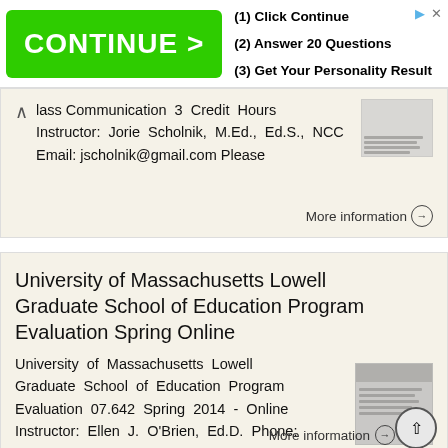[Figure (screenshot): Advertisement banner with green CONTINUE > button and text: (1) Click Continue, (2) Answer 20 Questions, (3) Get Your Personality Result]
Mass Communication 3 Credit Hours Instructor: Jorie Scholnik, M.Ed., Ed.S., NCC Email: jscholnik@gmail.com Please
More information →
University of Massachusetts Lowell Graduate School of Education Program Evaluation Spring Online
University of Massachusetts Lowell Graduate School of Education Program Evaluation 07.642 Spring 2014 - Online Instructor: Ellen J. O'Brien, Ed.D. Phone: 413.441.2455 (cell), 978.934.1943 (office) Email:
More information →